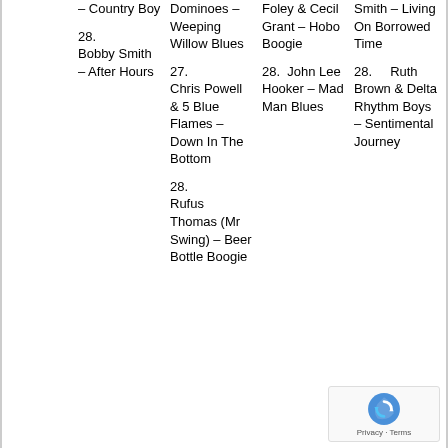– Country Boy
28. Bobby Smith – After Hours
Dominoes – Weeping Willow Blues
27. Chris Powell & 5 Blue Flames – Down In The Bottom
28. Rufus Thomas (Mr Swing) – Beer Bottle Boogie
Foley & Cecil Grant – Hobo Boogie
28. John Lee Hooker – Mad Man Blues
Smith – Living On Borrowed Time
28. Ruth Brown & Delta Rhythm Boys – Sentimental Journey